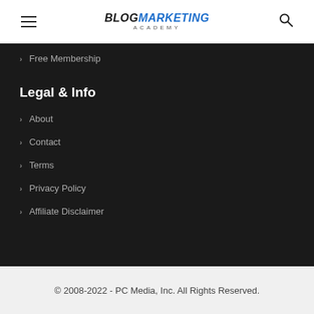[Figure (logo): Blog Marketing Academy logo with hamburger menu and search icon in white header bar]
Free Membership
Legal & Info
About
Contact
Terms
Privacy Policy
Affiliate Disclaimer
© 2008-2022 - PC Media, Inc. All Rights Reserved.